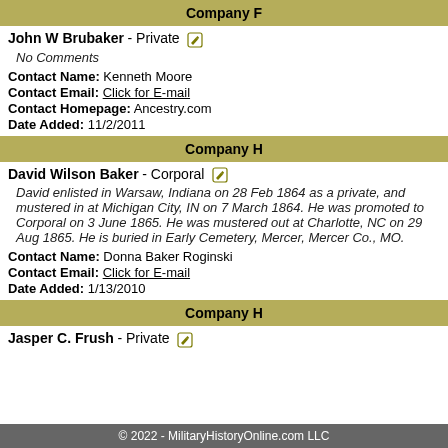Company F
John W Brubaker - Private
No Comments
Contact Name: Kenneth Moore
Contact Email: Click for E-mail
Contact Homepage: Ancestry.com
Date Added: 11/2/2011
Company H
David Wilson Baker - Corporal
David enlisted in Warsaw, Indiana on 28 Feb 1864 as a private, and mustered in at Michigan City, IN on 7 March 1864. He was promoted to Corporal on 3 June 1865. He was mustered out at Charlotte, NC on 29 Aug 1865. He is buried in Early Cemetery, Mercer, Mercer Co., MO.
Contact Name: Donna Baker Roginski
Contact Email: Click for E-mail
Date Added: 1/13/2010
Company H
Jasper C. Frush - Private
© 2022 - MilitaryHistoryOnline.com LLC